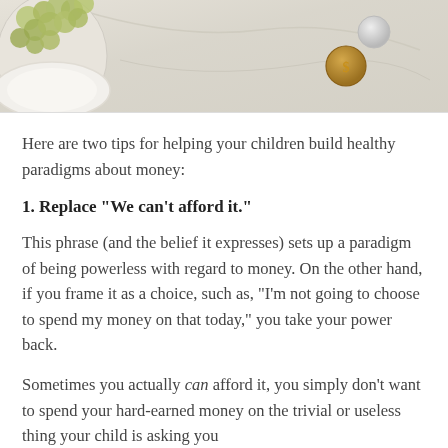[Figure (photo): Top portion of a flat-lay photo showing grapes on a plate, coins on a marble surface]
Here are two tips for helping your children build healthy paradigms about money:
1. Replace “We can’t afford it.”
This phrase (and the belief it expresses) sets up a paradigm of being powerless with regard to money. On the other hand, if you frame it as a choice, such as, “I’m not going to choose to spend my money on that today,” you take your power back.
Sometimes you actually can afford it, you simply don’t want to spend your hard-earned money on the trivial or useless thing your child is asking you